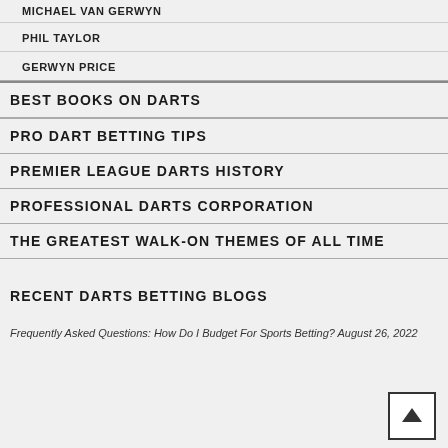MICHAEL VAN GERWYN
PHIL TAYLOR
GERWYN PRICE
BEST BOOKS ON DARTS
PRO DART BETTING TIPS
PREMIER LEAGUE DARTS HISTORY
PROFESSIONAL DARTS CORPORATION
THE GREATEST WALK-ON THEMES OF ALL TIME
RECENT DARTS BETTING BLOGS
Frequently Asked Questions: How Do I Budget For Sports Betting? August 26, 2022